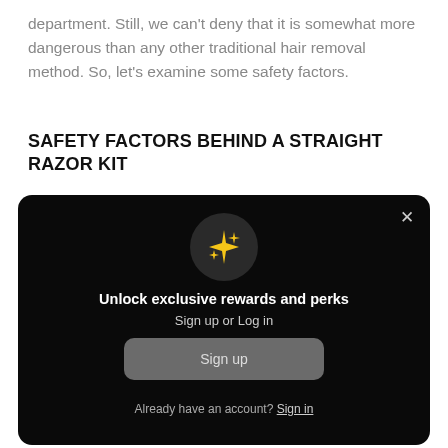department. Still, we can't deny that it is somewhat more dangerous than any other traditional hair removal method. So, let's examine some safety factors.
SAFETY FACTORS BEHIND A STRAIGHT RAZOR KIT
[Figure (other): Dark modal popup with sparkle/star icon in a dark circle, title 'Unlock exclusive rewards and perks', subtitle 'Sign up or Log in', a gray 'Sign up' button, and a footer link 'Already have an account? Sign in'. Close X button in top right corner.]